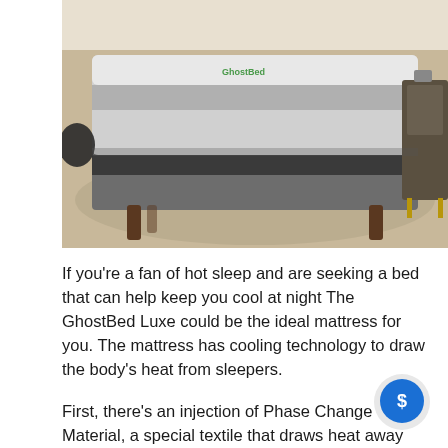[Figure (photo): A GhostBed mattress on a bed frame with legs, placed on a rug in a bedroom setting with a nightstand visible on the right.]
If you're a fan of hot sleep and are seeking a bed that can help keep you cool at night The GhostBed Luxe could be the ideal mattress for you. The mattress has cooling technology to draw the body's heat from sleepers.
First, there's an injection of Phase Change Material, a special textile that draws heat away from the sleeper and feels cool to touch. It also comes with a layer of gel memory foam that, in addition to being